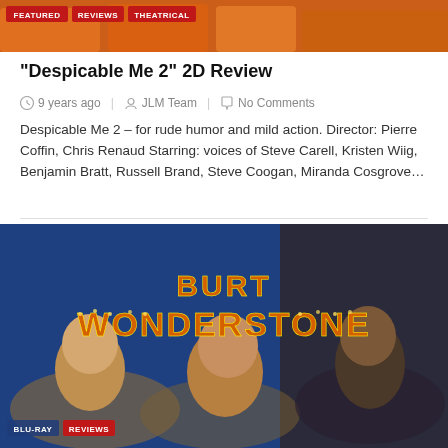[Figure (photo): Top banner image with orange background, partially visible. Tags bar showing FEATURED, REVIEWS, THEATRICAL in red badges.]
“Despicable Me 2” 2D Review
9 years ago   JLM Team   No Comments
Despicable Me 2 – for rude humor and mild action. Director: Pierre Coffin, Chris Renaud Starring: voices of Steve Carell, Kristen Wiig, Benjamin Bratt, Russell Brand, Steve Coogan, Miranda Cosgrove…
[Figure (photo): Movie promotional image for Burt Wonderstone. Shows three characters with the title 'BURT WONDERSTONE' in large illuminated marquee-style letters. Tags BLU-RAY and REVIEWS visible at bottom left.]